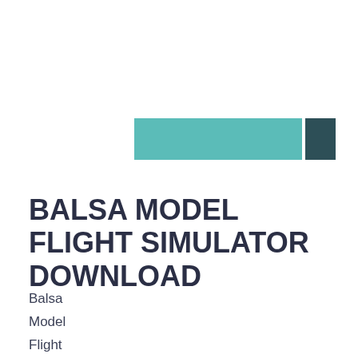[Figure (other): A decorative horizontal bar graphic consisting of a wide teal/light-green rectangle and a smaller dark teal square on the right end]
BALSA MODEL FLIGHT SIMULATOR DOWNLOAD
Balsa
Model
Flight